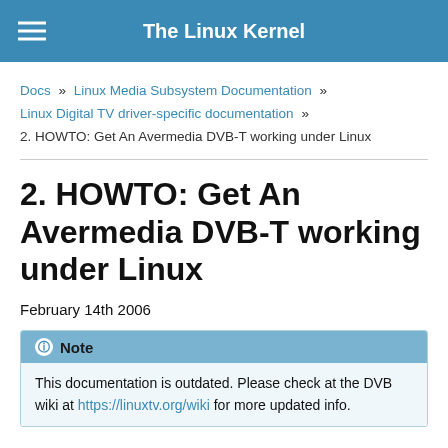The Linux Kernel
Docs » Linux Media Subsystem Documentation » Linux Digital TV driver-specific documentation » 2. HOWTO: Get An Avermedia DVB-T working under Linux
2. HOWTO: Get An Avermedia DVB-T working under Linux
February 14th 2006
Note
This documentation is outdated. Please check at the DVB wiki at https://linuxtv.org/wiki for more updated info.